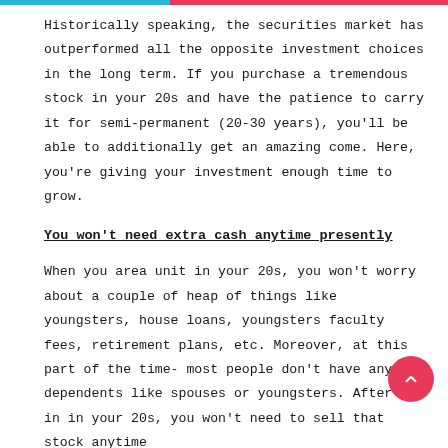Historically speaking, the securities market has outperformed all the opposite investment choices in the long term. If you purchase a tremendous stock in your 20s and have the patience to carry it for semi-permanent (20-30 years), you'll be able to additionally get an amazing come. Here, you're giving your investment enough time to grow.
You won't need extra cash anytime presently
When you area unit in your 20s, you won't worry about a couple of heap of things like youngsters, house loans, youngsters faculty fees, retirement plans, etc. Moreover, at this part of the time- most people don't have any dependents like spouses or youngsters. After you in in your 20s, you won't need to sell that stock anytime